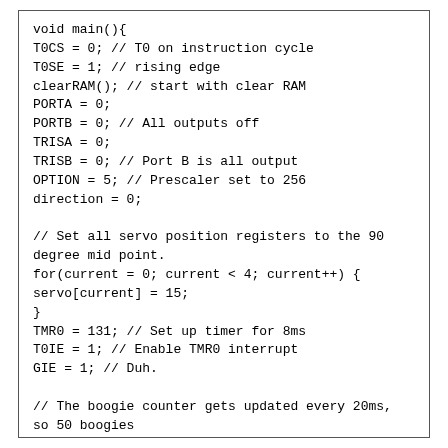void main(){
T0CS = 0; // T0 on instruction cycle
T0SE = 1; // rising edge
clearRAM(); // start with clear RAM
PORTA = 0;
PORTB = 0; // All outputs off
TRISA = 0;
TRISB = 0; // Port B is all output
OPTION = 5; // Prescaler set to 256
direction = 0;

// Set all servo position registers to the 90 degree mid point.
for(current = 0; current < 4; current++) {
servo[current] = 15;
}
TMR0 = 131; // Set up timer for 8ms
T0IE = 1; // Enable TMR0 interrupt
GIE = 1; // Duh.

// The boogie counter gets updated every 20ms, so 50 boogies
// equals one second. Tip of the hat to bogomips.

// First wait 2 seconds to let us see how the servos do at deadband
while(boogies < 100); // Loop for 2 seconds

// Now do 60 loops of 10% steps once a second, full motion
// range from 10 to 20 and back. Should take 1 minute.
direction = 1;
loops = 0;